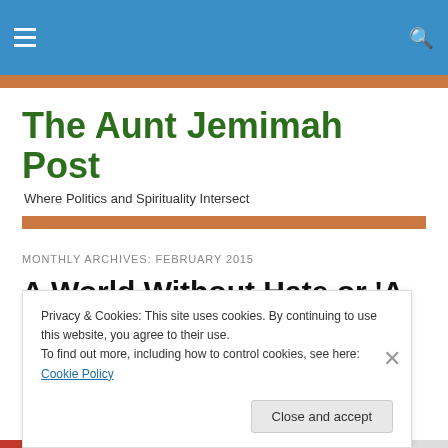The Aunt Jemimah Post — site navigation header with hamburger menu and search icon
The Aunt Jemimah Post
Where Politics and Spirituality Intersect
MONTHLY ARCHIVES: FEBRUARY 2015
A World Without Hate or 'A Religious War': Which Way
Privacy & Cookies: This site uses cookies. By continuing to use this website, you agree to their use.
To find out more, including how to control cookies, see here: Cookie Policy